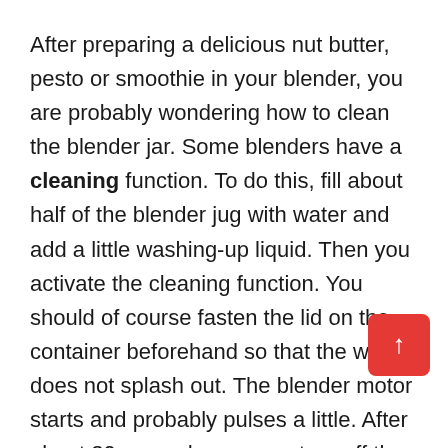After preparing a delicious nut butter, pesto or smoothie in your blender, you are probably wondering how to clean the blender jar. Some blenders have a cleaning function. To do this, fill about half of the blender jug with water and add a little washing-up liquid. Then you activate the cleaning function. You should of course fasten the lid on the container beforehand so that the water does not splash out. The blender motor starts and probably pulses a little. After about 30 seconds, you can turn off the blender and rinse the jar and lid.
If your blender doesn't have a cleaning function, you can still rinse it with dishwater. However, you must ensure that the engine remains dry. Under no circumstances should you put it in water. This can severely damage the engine and is also dangerous for you. You should also be